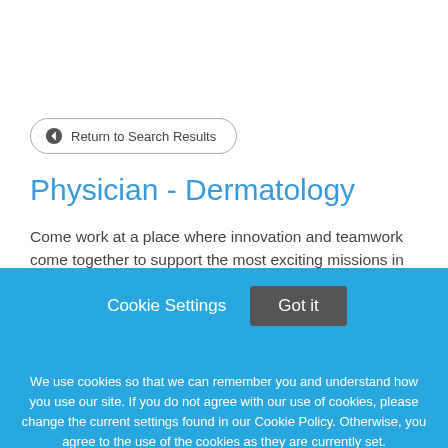Return to Search Results
Physician - Dermatology
Come work at a place where innovation and teamwork come together to support the most exciting missions in
Cookie Settings
Got it
We use cookies so that we can remember you and understand how you use our site. If you do not agree with our use of cookies, please change the current settings found in our Cookie Policy. Otherwise, you agree to the use of the cookies as they are currently set.